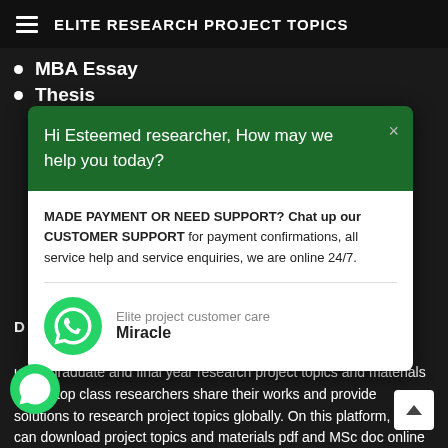ELITE RESEARCH PROJECT TOPICS
MBA Essay
Thesis
[Figure (screenshot): Chat popup widget with green header reading 'Hi Esteemed researcher, How may we help you today?' and white body with support text and WhatsApp agent info for 'Miracle']
undergraduate and final year research project topics and materials where top class researchers share their works and provide solutions to research project topics globally. On this platform, you can download project topics and materials pdf and MSc doc online and have access to a wide range of research project topics and material guides, including miscellaneous academic articles for your study and reference. All items